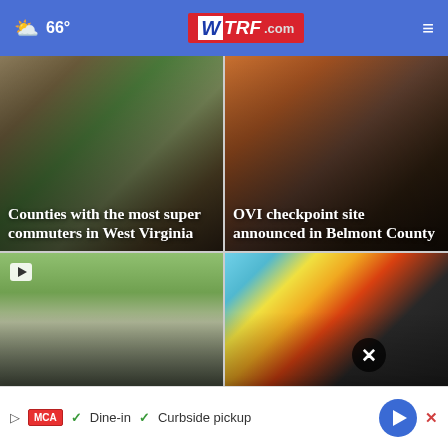66° WTRF.com
[Figure (photo): News card: Counties with the most super commuters in West Virginia - road/landscape photo]
Counties with the most super commuters in West Virginia
[Figure (photo): News card: OVI checkpoint site announced in Belmont County - dark graffiti/sign background]
OVI checkpoint site announced in Belmont County
[Figure (photo): News card: Hit-and-run sends boy to hospital, Sheriff's Office... - aerial road with motorcycle]
Hit-and-run sends boy to hospital, She... Office...
[Figure (photo): News card: Wheeling church helps to help 50... morning - back to school supplies photo]
Wheeling church helps to help 50... morning
▷  MCA  ✓ Dine-in  ✓ Curbside pickup